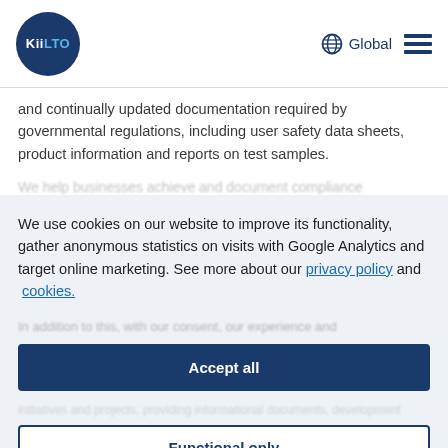KiiLTO — Global
and continually updated documentation required by governmental regulations, including user safety data sheets, product information and reports on test samples.
We use cookies on our website to improve its functionality, gather anonymous statistics on visits with Google Analytics and target online marketing. See more about our privacy policy and cookies.
Accept all
Functional only
View preferences
We have developed solutions in cooperation with Meira Nova.